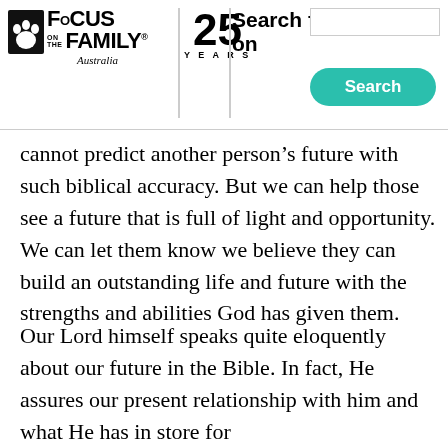Focus on the Family Australia | 25 Years | Search for advice on
[Figure (logo): Focus on the Family Australia logo with paw print icon, 25 Years anniversary badge, and Search for advice on text with search input box and teal Search button]
cannot predict another person’s future with such biblical accuracy. But we can help those see a future that is full of light and opportunity. We can let them know we believe they can build an outstanding life and future with the strengths and abilities God has given them.
Our Lord himself speaks quite eloquently about our future in the Bible. In fact, He assures our present relationship with him and what He has in store for